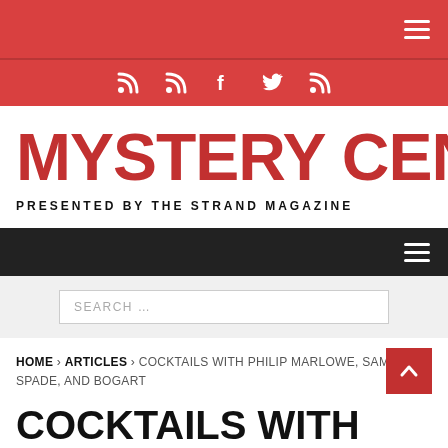Mystery Center — Presented by The Strand Magazine
MYSTERY CENTER
PRESENTED BY THE STRAND MAGAZINE
SEARCH …
HOME > ARTICLES > COCKTAILS WITH PHILIP MARLOWE, SAM SPADE, AND BOGART
COCKTAILS WITH PHILIP